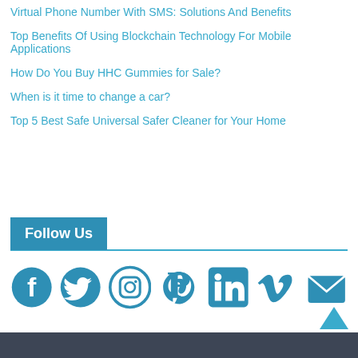Virtual Phone Number With SMS: Solutions And Benefits
Top Benefits Of Using Blockchain Technology For Mobile Applications
How Do You Buy HHC Gummies for Sale?
When is it time to change a car?
Top 5 Best Safe Universal Safer Cleaner for Your Home
Follow Us
[Figure (infographic): Social media icons row: Facebook, Twitter, Instagram, Pinterest, LinkedIn, Vimeo, Email — all in teal/steel blue color]